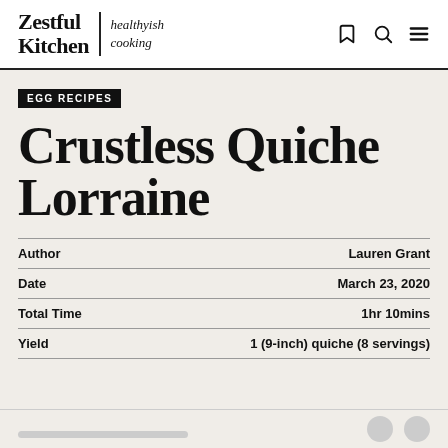Zestful Kitchen | healthyish cooking
EGG RECIPES
Crustless Quiche Lorraine
|  |  |
| --- | --- |
| Author | Lauren Grant |
| Date | March 23, 2020 |
| Total Time | 1hr 10mins |
| Yield | 1 (9-inch) quiche (8 servings) |